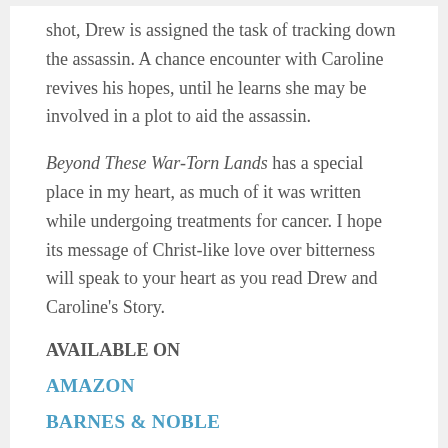shot, Drew is assigned the task of tracking down the assassin. A chance encounter with Caroline revives his hopes, until he learns she may be involved in a plot to aid the assassin.
Beyond These War-Torn Lands has a special place in my heart, as much of it was written while undergoing treatments for cancer. I hope its message of Christ-like love over bitterness will speak to your heart as you read Drew and Caroline's Story.
AVAILABLE ON
AMAZON
BARNES & NOBLE